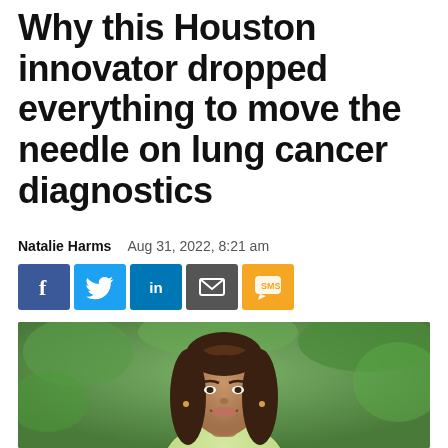Why this Houston innovator dropped everything to move the needle on lung cancer diagnostics
Natalie Harms   Aug 31, 2022, 8:21 am
[Figure (infographic): Social media sharing buttons: Facebook (blue), Twitter (blue), LinkedIn (blue), Email (grey), SMS (orange)]
[Figure (photo): Headshot of a young woman with long brown hair, smiling, wearing a light yellow top, with green foliage in the background]